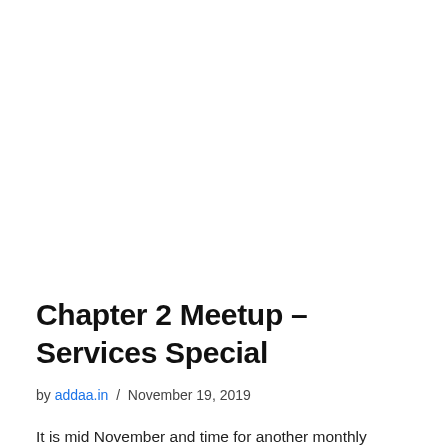Chapter 2 Meetup – Services Special
by addaa.in / November 19, 2019
It is mid November and time for another monthly meetup for Business Mates Delhi. This time we have Services Special